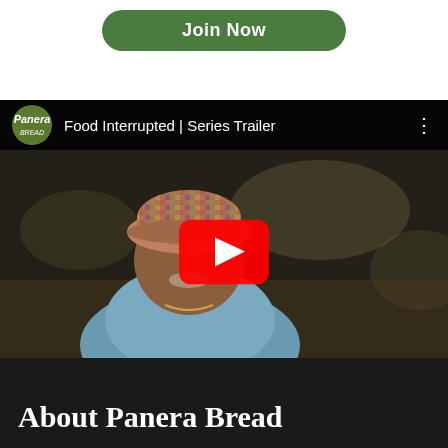[Figure (screenshot): Green rounded 'Join Now' button on white background]
[Figure (screenshot): YouTube video embed for 'Food Interrupted | Series Trailer' by Panera, showing a man in a colorful hat and blue shirt with a red YouTube play button overlay]
About Panera Bread